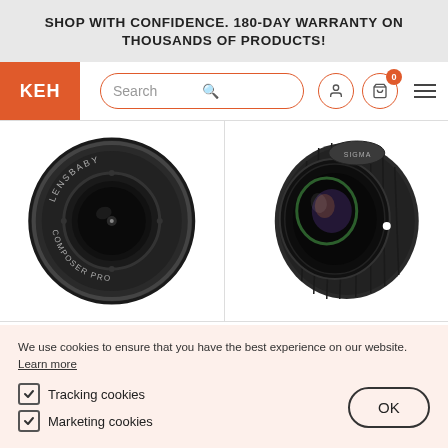SHOP WITH CONFIDENCE. 180-DAY WARRANTY ON THOUSANDS OF PRODUCTS!
[Figure (logo): KEH camera store logo — white text on orange rectangle]
[Figure (screenshot): Navigation bar with KEH logo, search bar, user icon, cart icon with 0 badge, hamburger menu]
[Figure (photo): Two camera lenses side by side: left is a Lensbaby Composer Pro lens viewed from front, right is a Sigma Art lens viewed at angle]
We use cookies to ensure that you have the best experience on our website. Learn more
Tracking cookies
Marketing cookies